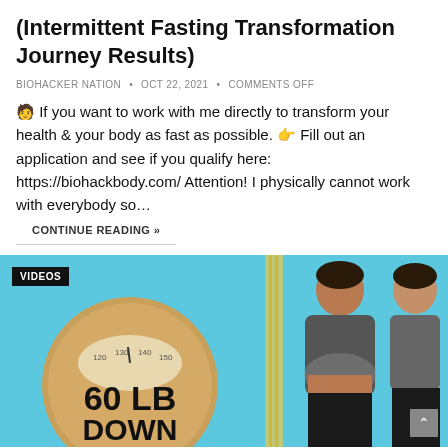(Intermittent Fasting Transformation Journey Results)
BIOHACKER NATION  •  OCT 22, 2021  •  COMMENTS OFF
🧑 If you want to work with me directly to transform your health & your body as fast as possible. 👉 Fill out an application and see if you qualify here: https://biohackbody.com/ Attention! I physically cannot work with everybody so…
CONTINUE READING »
[Figure (photo): Before and after weight loss transformation photo showing a woman with a scale graphic showing 60 LB DOWN text, blue background, VIDEOS badge in top-left corner]